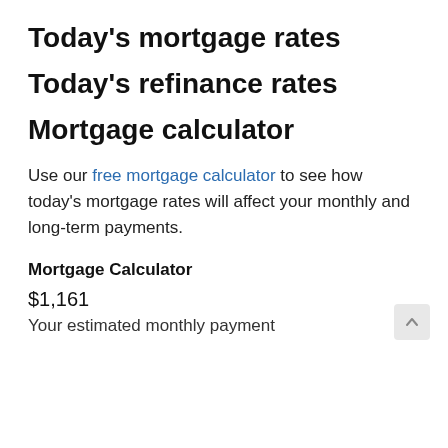Today's mortgage rates
Today's refinance rates
Mortgage calculator
Use our free mortgage calculator to see how today's mortgage rates will affect your monthly and long-term payments.
Mortgage Calculator
$1,161
Your estimated monthly payment